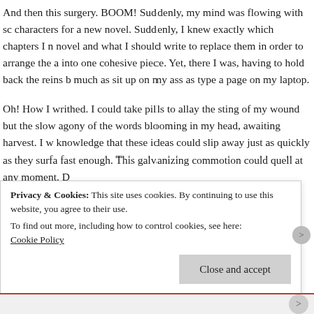And then this surgery. BOOM! Suddenly, my mind was flowing with sc characters for a new novel. Suddenly, I knew exactly which chapters I n novel and what I should write to replace them in order to arrange the a into one cohesive piece. Yet, there I was, having to hold back the reins b much as sit up on my ass as type a page on my laptop.
Oh! How I writhed. I could take pills to allay the sting of my wound but the slow agony of the words blooming in my head, awaiting harvest. I w knowledge that these ideas could slip away just as quickly as they surfa fast enough. This galvanizing commotion could quell at any moment. D
But, still, I misdirected the blame.
A... the I ... d th t ld th i bility t ll t a ne su m
Privacy & Cookies: This site uses cookies. By continuing to use this website, you agree to their use.
To find out more, including how to control cookies, see here:
Cookie Policy
Close and accept